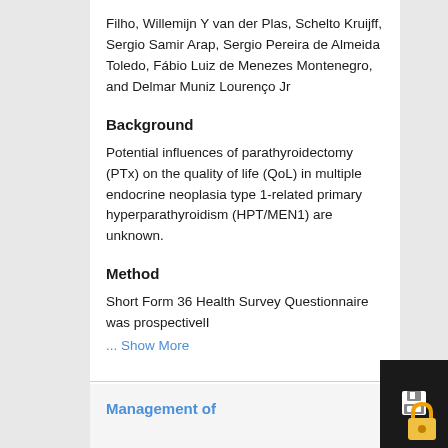Filho, Willemijn Y van der Plas, Schelto Kruijff, Sergio Samir Arap, Sergio Pereira de Almeida Toledo, Fábio Luiz de Menezes Montenegro, and Delmar Muniz Lourenço Jr
Background
Potential influences of parathyroidectomy (PTx) on the quality of life (QoL) in multiple endocrine neoplasia type 1-related primary hyperparathyroidism (HPT/MEN1) are unknown.
Method
Short Form 36 Health Survey Questionnaire was prospectivelI
... Show More
Management of